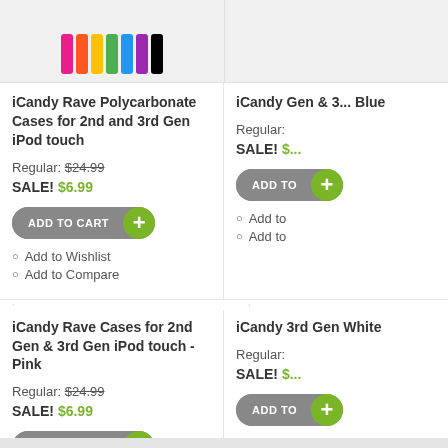[Figure (photo): Product image for iCandy Rave Polycarbonate Cases - colorful strips]
[Figure (photo): Product image for iCandy (partially visible, right column)]
iCandy Rave Polycarbonate Cases for 2nd and 3rd Gen iPod touch
Regular: $24.99
SALE! $6.99
ADD TO CART
Add to Wishlist
Add to Compare
iCandy Gen & 3... Blue
Regular:
SALE! $...
ADD TO...
Add to
Add to
iCandy Rave Cases for 2nd Gen & 3rd Gen iPod touch - Pink
Regular: $24.99
SALE! $6.99
ADD TO CART
Add to Wishlist
Add to Compare
iCandy 3rd Gen White
Regular:
SALE! $...
ADD TO...
Add to
Add to